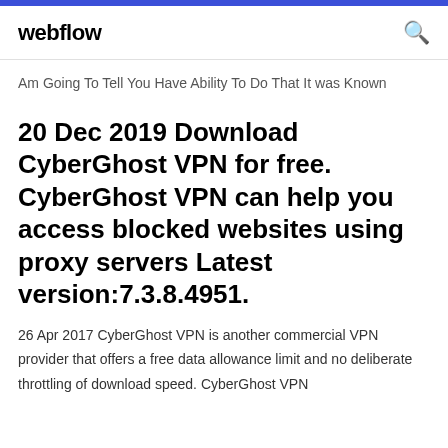webflow
Am Going To Tell You Have Ability To Do That It was Known
20 Dec 2019 Download CyberGhost VPN for free. CyberGhost VPN can help you access blocked websites using proxy servers Latest version:7.3.8.4951.
26 Apr 2017 CyberGhost VPN is another commercial VPN provider that offers a free data allowance limit and no deliberate throttling of download speed. CyberGhost VPN